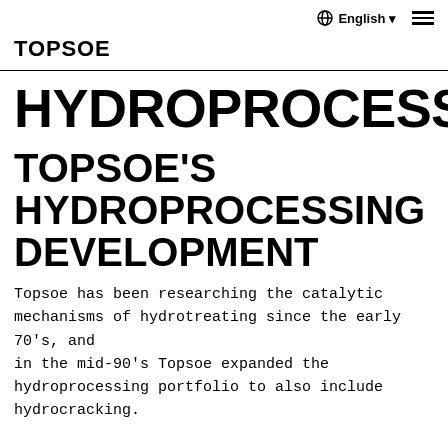English
TOPSOE
HYDROPROCESSING
TOPSOE'S HYDROPROCESSING DEVELOPMENT
Topsoe has been researching the catalytic mechanisms of hydrotreating since the early 70's, and in the mid-90's Topsoe expanded the hydroprocessing portfolio to also include hydrocracking.